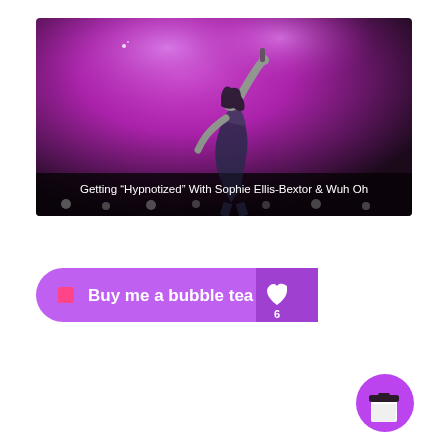[Figure (photo): A performer (Sophie Ellis-Bextor) on stage with purple/magenta lighting, holding a microphone above her head, wearing a dark dress. Text overlay at bottom: Getting “Hypnotized” With Sophie Ellis-Bextor & Wuh Oh]
[Figure (other): A purple rounded-rectangle button reading 'Buy me a bubble tea' with a heart icon and the number 6 on the right side]
[Figure (other): A circular purple floating action button with a coffee/bubble tea cup icon]